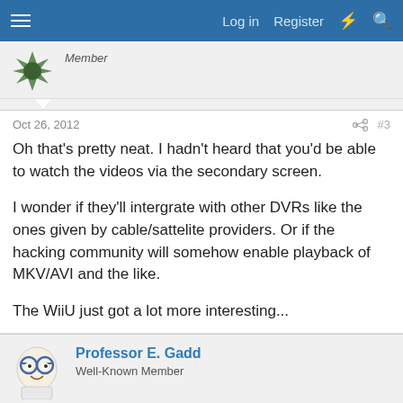Log in  Register
Member
Oct 26, 2012  #3
Oh that's pretty neat. I hadn't heard that you'd be able to watch the videos via the secondary screen.

I wonder if they'll intergrate with other DVRs like the ones given by cable/sattelite providers. Or if the hacking community will somehow enable playback of MKV/AVI and the like.

The WiiU just got a lot more interesting...
Professor E. Gadd
Well-Known Member
Oct 26, 2012  #4
They did have a real digital TV tuner with an antenna for DS in